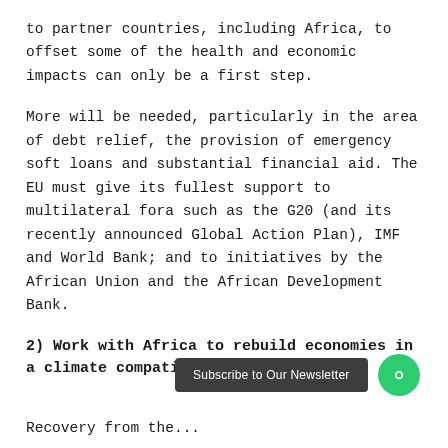to partner countries, including Africa, to offset some of the health and economic impacts can only be a first step.
More will be needed, particularly in the area of debt relief, the provision of emergency soft loans and substantial financial aid. The EU must give its fullest support to multilateral fora such as the G20 (and its recently announced Global Action Plan), IMF and World Bank; and to initiatives by the African Union and the African Development Bank.
2) Work with Africa to rebuild economies in a climate compatible way.
Subscribe to Our Newsletter
Recovery from the...